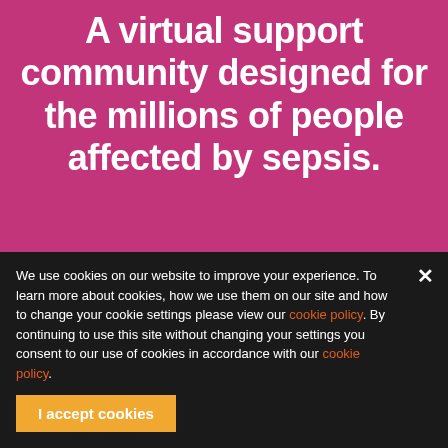A virtual support community designed for the millions of people affected by sepsis.
[Figure (screenshot): White button with red uppercase text 'LEARN MORE' partially visible at bottom of pink background section]
We use cookies on our website to improve your experience. To learn more about cookies, how we use them on our site and how to change your cookie settings please view our cookie policy. By continuing to use this site without changing your settings you consent to our use of cookies in accordance with our cookie policy.
I accept cookies